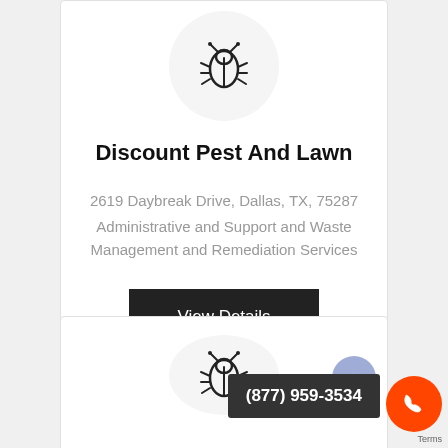[Figure (illustration): Bug/pest icon inside a light gray circle - top of first card]
Discount Pest And Lawn
2619 Daybreak Drive, Dallas, TX, 75287
Administrative and Support and Waste Management and Remediation Services
View Details
[Figure (illustration): Bug/pest icon inside a light gray circle - top of second card]
(877) 959-3534